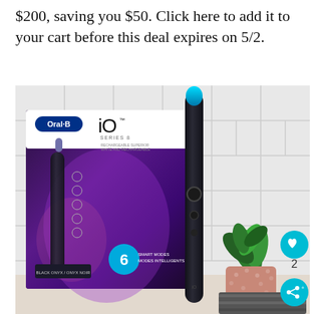$200, saving you $50. Click here to add it to your cart before this deal expires on 5/2.
[Figure (photo): Product photo of Oral-B iO Series 8 electric toothbrush in black, shown next to its retail box, with a succulent plant in a decorative pot, grey towel, white tile wall background. Heart/save and share buttons visible on right edge.]